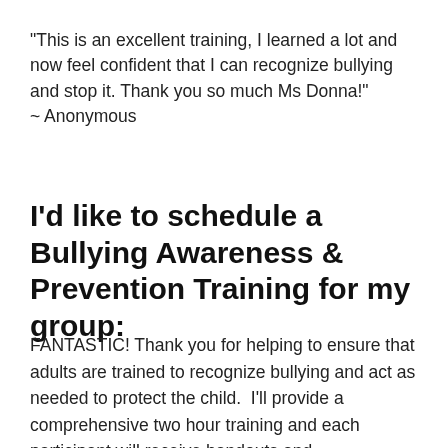"This is an excellent training, I learned a lot and now feel confident that I can recognize bullying and stop it. Thank you so much Ms Donna!"
~ Anonymous
I'd like to schedule a Bullying Awareness & Prevention Training for my group:
FANTASTIC! Thank you for helping to ensure that adults are trained to recognize bullying and act as needed to protect the child.  I'll provide a comprehensive two hour training and each participant will receive handouts and